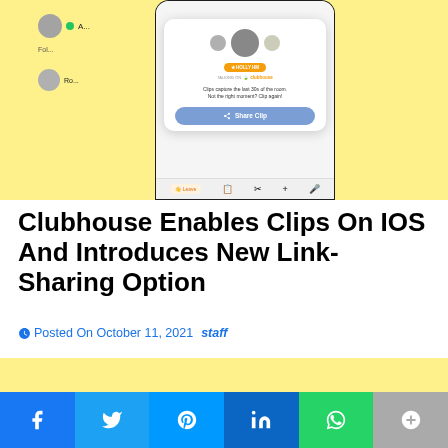[Figure (screenshot): Clubhouse app screenshot showing Clips feature with 'Share Clip' button popup, displayed on a phone mockup over a yellow background. The popup shows avatars, the text 'Clips capture the last 30s of the room. Not the right moment? Clip again!' and a blue 'Share Clip' button.]
Clubhouse Enables Clips On IOS And Introduces New Link-Sharing Option
Posted On October 11, 2021   staff
[Figure (photo): Yellow background block (continuation of article image area)]
[Figure (infographic): Social sharing bar with Facebook, Twitter, Messenger, LinkedIn, WhatsApp, and More buttons]